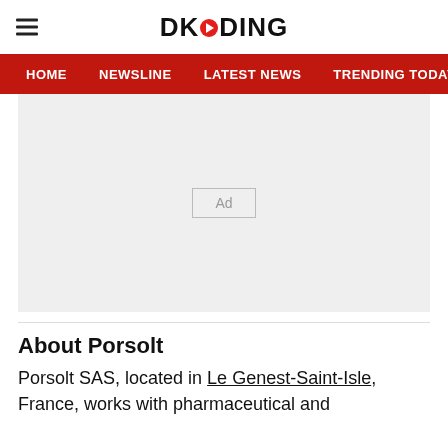DKODING
HOME  NEWSLINE  LATEST NEWS  TRENDING TODAY  ENT
[Figure (other): Advertisement placeholder box with 'Ad' label on grey background]
About Porsolt
Porsolt SAS, located in Le Genest-Saint-Isle, France, works with pharmaceutical and